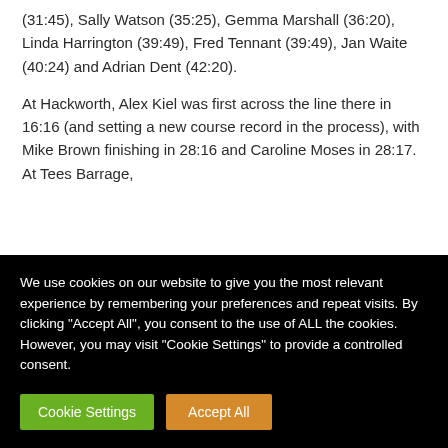(31:45), Sally Watson (35:25), Gemma Marshall (36:20), Linda Harrington (39:49), Fred Tennant (39:49), Jan Waite (40:24) and Adrian Dent (42:20).
At Hackworth, Alex Kiel was first across the line there in 16:16 (and setting a new course record in the process), with Mike Brown finishing in 28:16 and Caroline Moses in 28:17. At Tees Barrage,
We use cookies on our website to give you the most relevant experience by remembering your preferences and repeat visits. By clicking "Accept All", you consent to the use of ALL the cookies. However, you may visit "Cookie Settings" to provide a controlled consent.